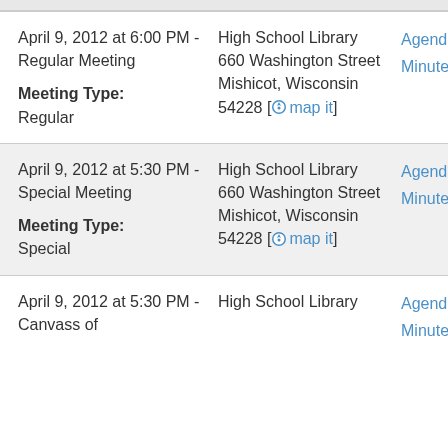April 9, 2012 at 6:00 PM - Regular Meeting
Meeting Type:
Regular
High School Library
660 Washington Street
Mishicot, Wisconsin 54228 [map it]
Agenda
Minutes
April 9, 2012 at 5:30 PM - Special Meeting
Meeting Type:
Special
High School Library
660 Washington Street
Mishicot, Wisconsin 54228 [map it]
Agenda
Minutes
April 9, 2012 at 5:30 PM - Canvass of
High School Library
Agenda
Minutes